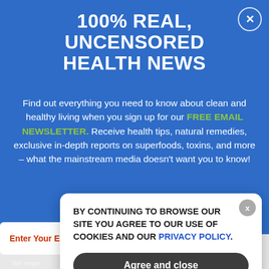100% REAL, UNCENSORED HEALTH NEWS
Find out everything you need to know about clean and healthy living when you sign up for our FREE EMAIL NEWSLETTER. Receive health tips, natural remedies, exclusive in-depth reports on superfoods, toxins, and more – what the mainstream media doesn't want you to know!
Enter Your E
We respe
BY CONTINUING TO BROWSE OUR SITE YOU AGREE TO OUR USE OF COOKIES AND OUR PRIVACY POLICY. Agree and close